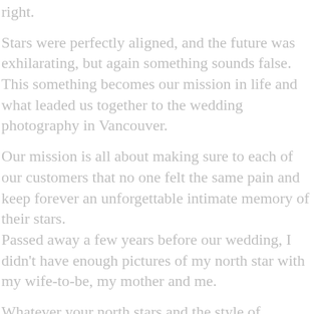right.
Stars were perfectly aligned, and the future was exhilarating, but again something sounds false.
This something becomes our mission in life and what leaded us together to the wedding photography in Vancouver.
Our mission is all about making sure to each of our customers that no one felt the same pain and keep forever an unforgettable intimate memory of their stars.
Passed away a few years before our wedding, I didn't have enough pictures of my north star with my wife-to-be, my mother and me.
Whatever your north stars and the style of photography you choose, your wedding photographer should focus a large amount of time on intimate moments that only you can feel. Seeing and capturing the world with that mission in mind